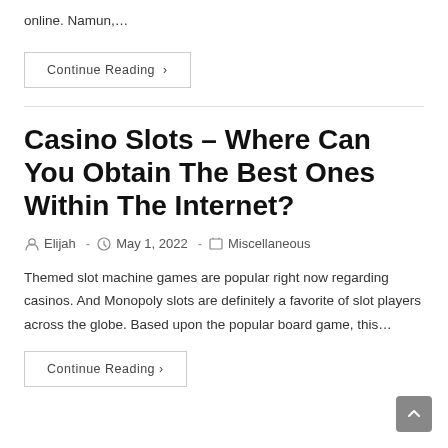online. Namun,…
Continue Reading ›
Casino Slots – Where Can You Obtain The Best Ones Within The Internet?
Post author: Elijah  -  Post date: May 1, 2022  -  Post category: Miscellaneous
Themed slot machine games are popular right now regarding casinos. And Monopoly slots are definitely a favorite of slot players across the globe. Based upon the popular board game, this…
Continue Reading ›